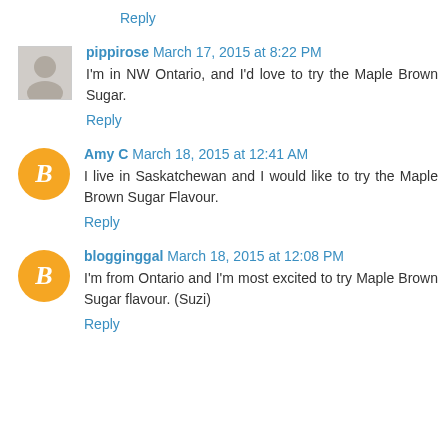Reply
pippirose March 17, 2015 at 8:22 PM
I'm in NW Ontario, and I'd love to try the Maple Brown Sugar.
Reply
Amy C March 18, 2015 at 12:41 AM
I live in Saskatchewan and I would like to try the Maple Brown Sugar Flavour.
Reply
blogginggal March 18, 2015 at 12:08 PM
I'm from Ontario and I'm most excited to try Maple Brown Sugar flavour. (Suzi)
Reply